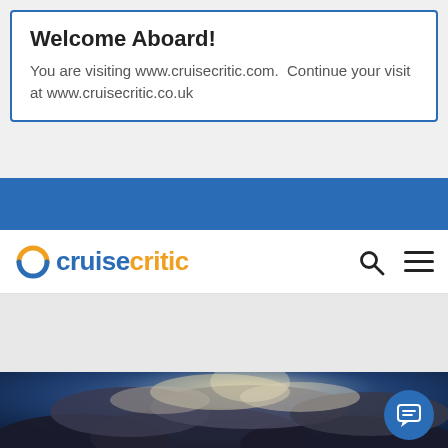Welcome Aboard!
You are visiting www.cruisecritic.com.  Continue your visit at www.cruisecritic.co.uk
[Figure (logo): Cruise Critic logo with orange C icon, blue 'cruise' text and orange 'critic' text, plus search and menu icons in navigation bar]
[Figure (photo): Dramatic cloudy sky with sunlight breaking through dark clouds]
[Figure (other): Blue circular chat button with speech bubble icon]